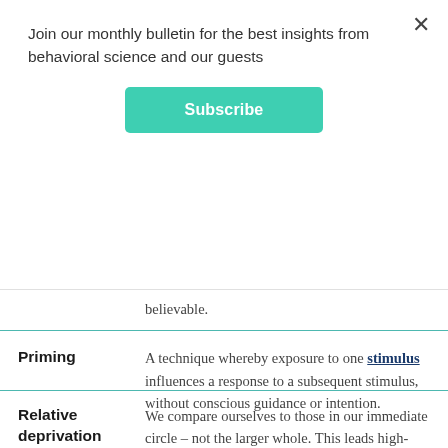Join our monthly bulletin for the best insights from behavioral science and our guests
Subscribe
believable.
Priming
A technique whereby exposure to one stimulus influences a response to a subsequent stimulus, without conscious guidance or intention.
Relative deprivation theory
We compare ourselves to those in our immediate circle – not the larger whole. This leads high-performing, smart people to feel less so when